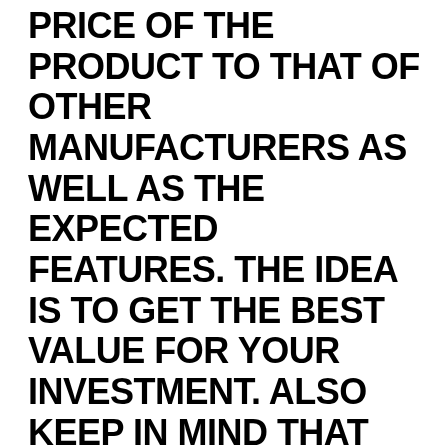PRICE OF THE PRODUCT TO THAT OF OTHER MANUFACTURERS AS WELL AS THE EXPECTED FEATURES. THE IDEA IS TO GET THE BEST VALUE FOR YOUR INVESTMENT. ALSO KEEP IN MIND THAT MORE PRICEY DOES NOT ALWAYS IMPLY HIGHER PERFORMANCE. THUS, YOU SHOULD FIX YOUR BUDGET AND STICK TO IT TO GET THE BEST MATCH.